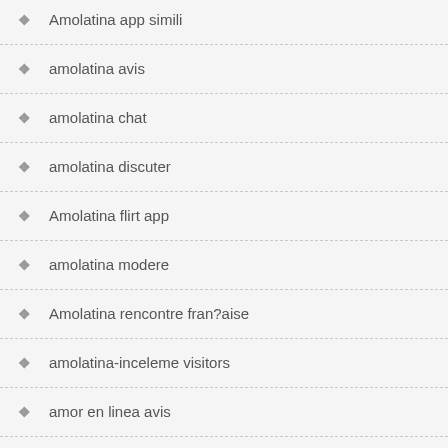Amolatina app simili
amolatina avis
amolatina chat
amolatina discuter
Amolatina flirt app
amolatina modere
Amolatina rencontre fran?aise
amolatina-inceleme visitors
amor en linea avis
amor en linea hile
Amor en Linea installeren
amor en linea it reviews